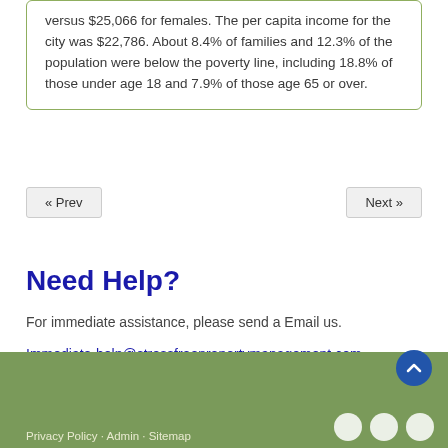versus $25,066 for females. The per capita income for the city was $22,786. About 8.4% of families and 12.3% of the population were below the poverty line, including 18.8% of those under age 18 and 7.9% of those age 65 or over.
« Prev
Next »
Need Help?
For immediate assistance, please send a Email us.
Immediate-help@stressfreepropertymanagement.com
Privacy Policy · Admin · Sitemap